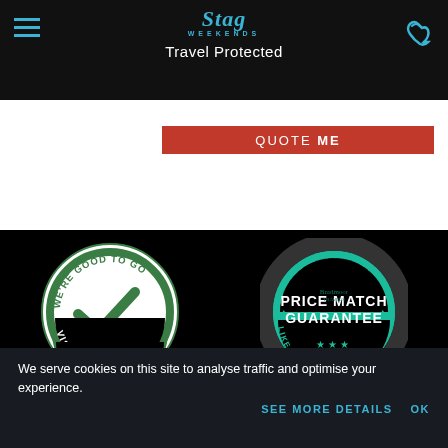Stag Weekends — Travel Protected
QUOTE ME
[Figure (logo): We're Good To Go — Visit England green circular badge with checkmark]
[Figure (logo): Price Match Guarantee — We will match any like for like quote teal circular badge]
[Figure (illustration): Stag Weekends antler logo divider in teal with horizontal lines on either side]
We serve cookies on this site to analyse traffic and optimise your experience.
SEE MORE DETAILS   OK